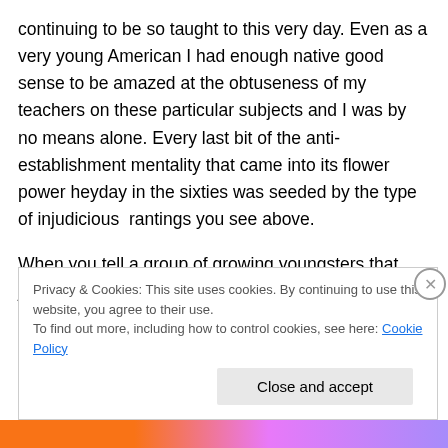continuing to be so taught to this very day. Even as a very young American I had enough native good sense to be amazed at the obtuseness of my teachers on these particular subjects and I was by no means alone. Every last bit of the anti-establishment mentality that came into its flower power heyday in the sixties was seeded by the type of injudicious  rantings you see above.
When you tell a group of growing youngsters that just any old body can be a senator, or a congressman, or best of all–The President!,  this will not be perceived by them as a
Privacy & Cookies: This site uses cookies. By continuing to use this website, you agree to their use.
To find out more, including how to control cookies, see here: Cookie Policy